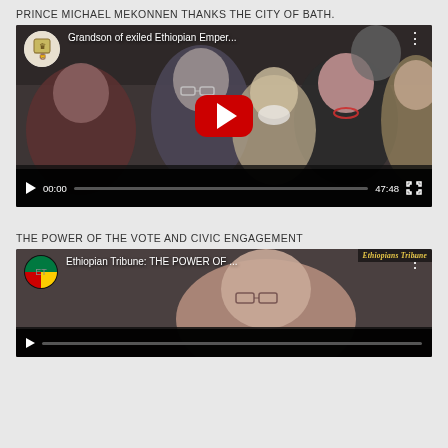PRINCE MICHAEL MEKONNEN THANKS THE CITY OF BATH.
[Figure (screenshot): YouTube video thumbnail showing group of people including a man in suit with glasses, a woman with red necklace, and others. Video title: 'Grandson of exiled Ethiopian Emper...' Duration: 47:48]
THE POWER OF THE VOTE AND CIVIC ENGAGEMENT
[Figure (screenshot): YouTube video thumbnail with Ethiopian Tribune branding showing video titled 'Ethiopian Tribune: THE POWER OF ...' with a person's face visible.]